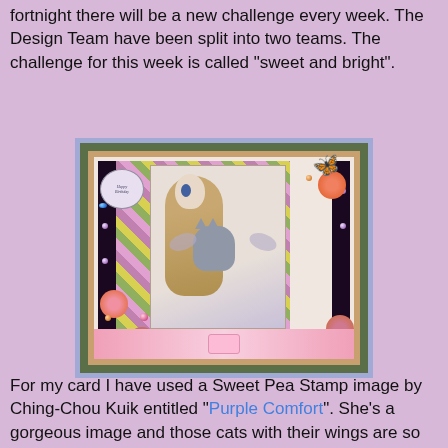fortnight there will be a new challenge every week.  The Design Team have been split into two teams.  The challenge for this week is called "sweet and bright".
[Figure (photo): A handmade birthday card featuring a girl with long wavy hair holding cats with wings (Sweet Pea Stamp 'Purple Comfort' image), decorated with black ribbon, orange and pink flowers with gem centers, butterfly embellishment, purple/green patterned paper, and a pink bottom band. Card sits on a green textured background.]
For my card I have used a Sweet Pea Stamp image by Ching-Chou Kuik entitled "Purple Comfort".  She's a gorgeous image and those cats with their wings are so sweet.  I have coloured the image for a change with watercolours to give a different effect.  I used some backing papers a friend gave which were a freebie with a magazine